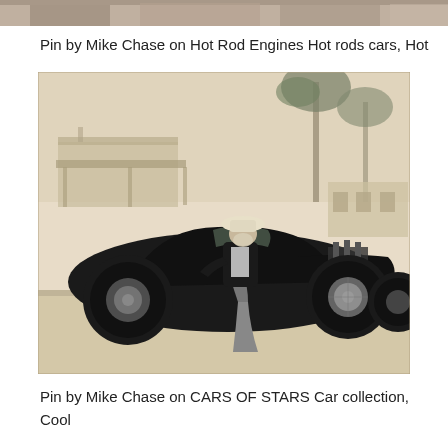[Figure (photo): Top cropped portion of a photograph showing a scene, partially visible at top of page]
Pin by Mike Chase on Hot Rod Engines Hot rods cars, Hot
[Figure (photo): Vintage sepia-toned photograph of a person in white hat and dark jacket leaning against a black hot rod roadster car, with palm trees and buildings in the background, taken on a dirt/gravel surface]
Pin by Mike Chase on CARS OF STARS Car collection, Cool